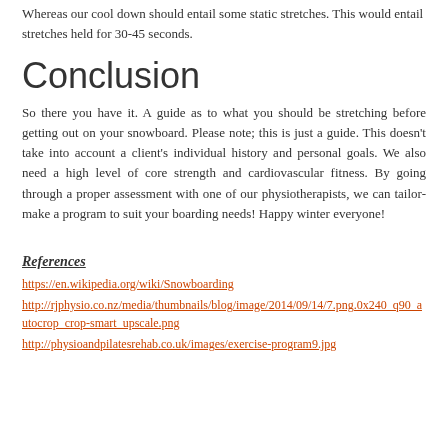Whereas our cool down should entail some static stretches. This would entail stretches held for 30-45 seconds.
Conclusion
So there you have it. A guide as to what you should be stretching before getting out on your snowboard. Please note; this is just a guide. This doesn't take into account a client's individual history and personal goals. We also need a high level of core strength and cardiovascular fitness. By going through a proper assessment with one of our physiotherapists, we can tailor-make a program to suit your boarding needs! Happy winter everyone!
References
https://en.wikipedia.org/wiki/Snowboarding
http://rjphysio.co.nz/media/thumbnails/blog/image/2014/09/14/7.png.0x240_q90_autocrop_crop-smart_upscale.png
http://physioandpilatesrehab.co.uk/images/exercise-program9.jpg